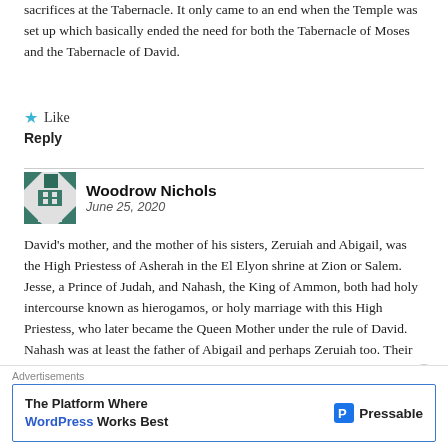sacrifices at the Tabernacle. It only came to an end when the Temple was set up which basically ended the need for both the Tabernacle of Moses and the Tabernacle of David.
Like
Reply
Woodrow Nichols
June 25, 2020
David's mother, and the mother of his sisters, Zeruiah and Abigail, was the High Priestess of Asherah in the El Elyon shrine at Zion or Salem. Jesse, a Prince of Judah, and Nahash, the King of Ammon, both had holy intercourse known as hierogamos, or holy marriage with this High Priestess, who later became the Queen Mother under the rule of David. Nahash was at least the father of Abigail and perhaps Zeruiah too. Their issue would have always been regarded as holy and not si
Advertisements
The Platform Where WordPress Works Best — Pressable